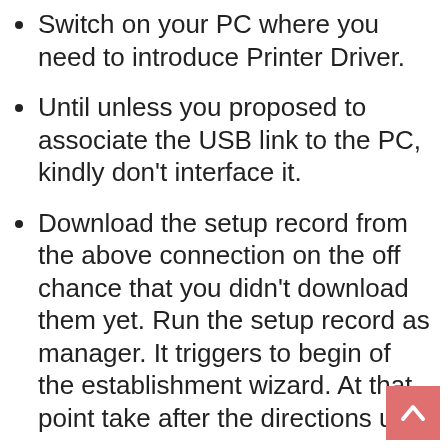Switch on your PC where you need to introduce Printer Driver.
Until unless you proposed to associate the USB link to the PC, kindly don't interface it.
Download the setup record from the above connection on the off chance that you didn't download them yet. Run the setup record as manager. It triggers to begin of the establishment wizard. At that point take after the directions until to complete it.
at the execution of this wizard, you need to associate the USB link between Printer and your PC.
So sit tight for that and associate just when it requests that you interface. It
This website uses cookies to ensure you get the best experience on our website. Learn more
Got it!